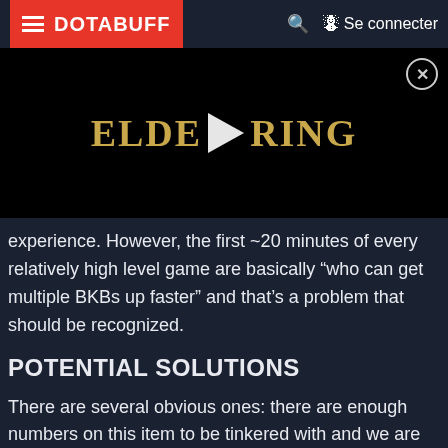DOTABUFF   Se connecter
[Figure (screenshot): Elden Ring video advertisement with gold title text and white play button on black background, with a close button (X) in the top right corner]
experience. However, the first ~20 minutes of every relatively high level game are basically “who can get multiple BKBs up faster” and that’s a problem that should be recognized.
POTENTIAL SOLUTIONS
There are several obvious ones: there are enough numbers on this item to be tinkered with and we are almost sure we will see the return of a five-second late-game BKB, as opposed to six seconds. The cooldown